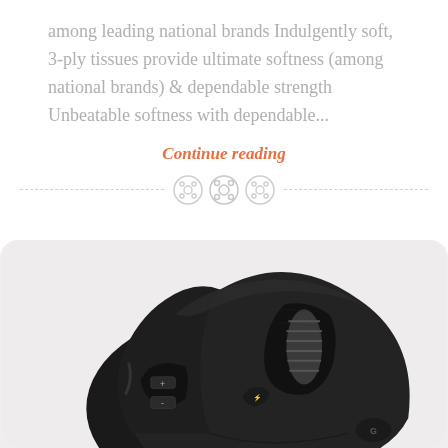among leading national brands Indulgently soft, 3-ply tissues provide ultimate softness (among national brands) & dependable strength Unbeatable softness with dependable...
Continue reading
[Figure (photo): Close-up photo of a black Logitech computer mouse showing scroll wheel, side buttons with + and - symbols, and the Logitech logo, on a light gray/pink background]